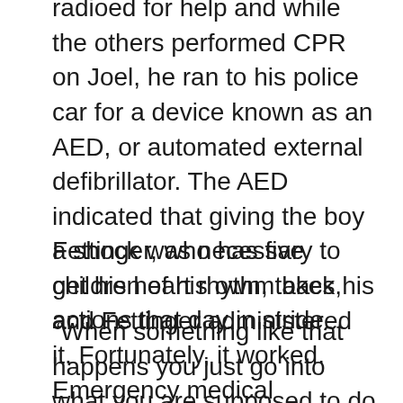radioed for help and while the others performed CPR on Joel, he ran to his police car for a device known as an AED, or automated external defibrillator. The AED indicated that giving the boy a shock was necessary to get his heart rhythm back, and Fettinger administered it. Fortunately, it worked. Emergency medical personnel arrived quickly and Joel was taken to the hospital where he spent several days recovering and being diagnosed to determine what caused his heart to stop to begin with.
Fettinger, who has five children of his own, takes his actions that day in stride.
“When something like that happens you just go into what you are supposed to do in your job and do what you’ve been trained to do. And fortunately we had just been recertified two weeks prior to this incident in CPR and AED use, so it was all very fresh in the mind. Training and experience just takes over and you do what needed to be done, and thankfully we had a great outcome this time,” he says.